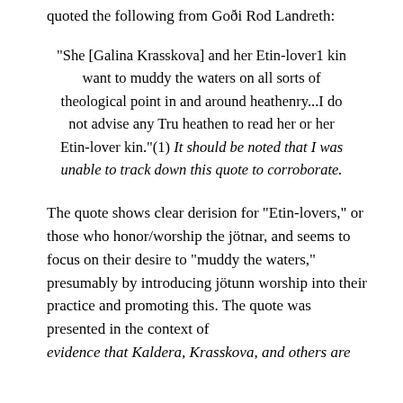quoted the following from Goði Rod Landreth:
“She [Galina Krasskova] and her Etin-lover1 kin want to muddy the waters on all sorts of theological point in and around heathenry…I do not advise any Tru heathen to read her or her Etin-lover kin.”(1) It should be noted that I was unable to track down this quote to corroborate.
The quote shows clear derision for “Etin-lovers,” or those who honor/worship the jötnar, and seems to focus on their desire to “muddy the waters,” presumably by introducing jötunn worship into their practice and promoting this. The quote was presented in the context of evidence that Kaldera, Krasskova, and others are